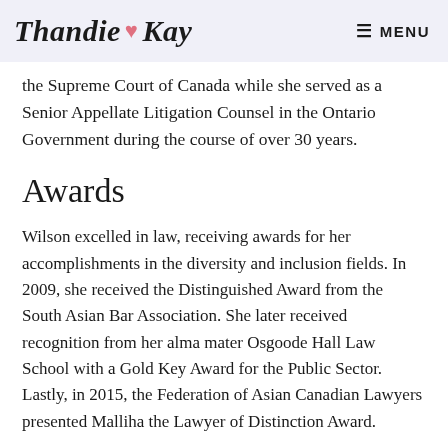Thandie ♥ Kay   ☰ MENU
the Supreme Court of Canada while she served as a Senior Appellate Litigation Counsel in the Ontario Government during the course of over 30 years.
Awards
Wilson excelled in law, receiving awards for her accomplishments in the diversity and inclusion fields. In 2009, she received the Distinguished Award from the South Asian Bar Association. She later received recognition from her alma mater Osgoode Hall Law School with a Gold Key Award for the Public Sector. Lastly, in 2015, the Federation of Asian Canadian Lawyers presented Malliha the Lawyer of Distinction Award.